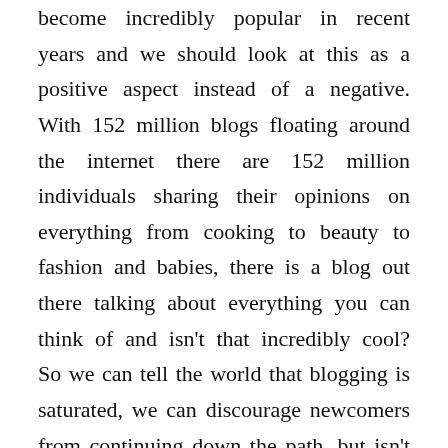become incredibly popular in recent years and we should look at this as a positive aspect instead of a negative. With 152 million blogs floating around the internet there are 152 million individuals sharing their opinions on everything from cooking to beauty to fashion and babies, there is a blog out there talking about everything you can think of and isn't that incredibly cool? So we can tell the world that blogging is saturated, we can discourage newcomers from continuing down the path, but isn't it so much cooler to encourage people to write about whatever the heck they want to? I mean what if you wrote specifically about banana bread and you found a fellow banana bread blogger and you became friends, not only are you writing about something that makes you happy, but you have also found a friend for life, because you both the